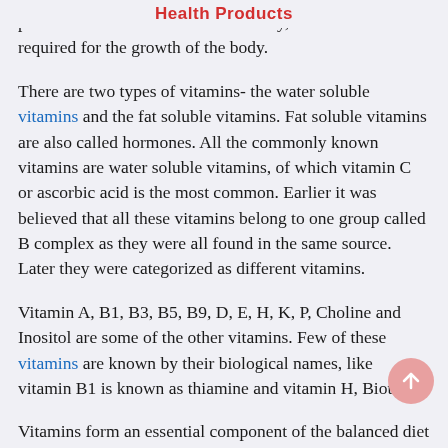Health Products
perform basic life functions. Basically, vitamins are required for the growth of the body.
There are two types of vitamins- the water soluble vitamins and the fat soluble vitamins. Fat soluble vitamins are also called hormones. All the commonly known vitamins are water soluble vitamins, of which vitamin C or ascorbic acid is the most common. Earlier it was believed that all these vitamins belong to one group called B complex as they were all found in the same source. Later they were categorized as different vitamins.
Vitamin A, B1, B3, B5, B9, D, E, H, K, P, Choline and Inositol are some of the other vitamins. Few of these vitamins are known by their biological names, like vitamin B1 is known as thiamine and vitamin H, Biotin.
Vitamins form an essential component of the balanced diet that we eat. People with chronic illnesses are advised to